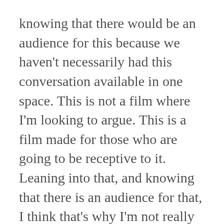knowing that there would be an audience for this because we haven't necessarily had this conversation available in one space. This is not a film where I'm looking to argue. This is a film made for those who are going to be receptive to it. Leaning into that, and knowing that there is an audience for that, I think that's why I'm not really concerned if there are any naysayers or trolls or whatever comes along with the territory.
Daughters of Eve is available to rent at www.daughtersofevefilm.com/rentfilm and is also available for educational licensing or public screenings. You can also follow on Twitter at